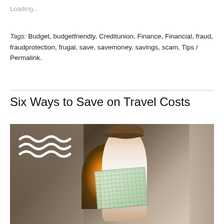Loading...
Tags: Budget, budgetfriendly, Creditunion, Finance, Financial, fraud, fraudprotection, frugal, save, savemoney, savings, scam, Tips / Permalink.
Six Ways to Save on Travel Costs
[Figure (photo): Woman in a brown fedora hat reading a map in a stone archway tunnel with warm backlight, with wave logo overlay in top left corner]